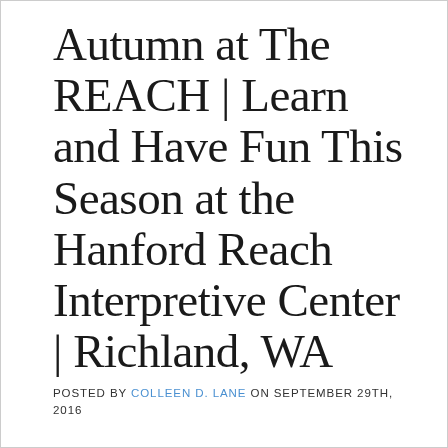Autumn at The REACH | Learn and Have Fun This Season at the Hanford Reach Interpretive Center | Richland, WA
POSTED BY COLLEEN D. LANE ON SEPTEMBER 29TH, 2016